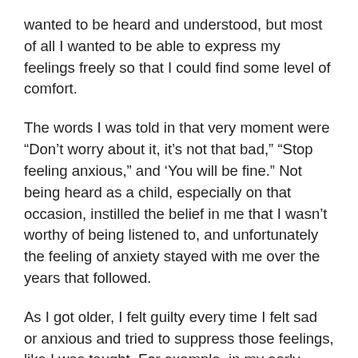wanted to be heard and understood, but most of all I wanted to be able to express my feelings freely so that I could find some level of comfort.
The words I was told in that very moment were “Don’t worry about it, it’s not that bad,” “Stop feeling anxious,” and ‘You will be fine.” Not being heard as a child, especially on that occasion, instilled the belief in me that I wasn’t worthy of being listened to, and unfortunately the feeling of anxiety stayed with me over the years that followed.
As I got older, I felt guilty every time I felt sad or anxious and tried to suppress those feelings, like I was taught. For example, in my early twenties, one of my dearest friends decided to end her life. She was young, and there had been no apparent signs of her deep unhappiness and the